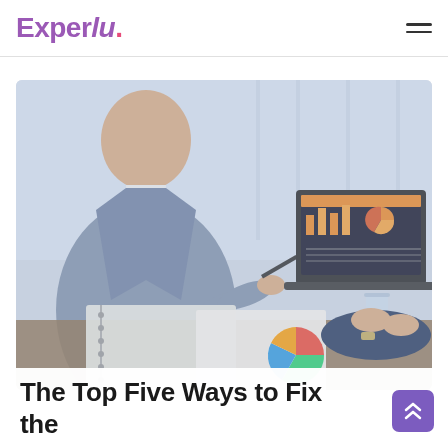Experlu.
[Figure (photo): Two business professionals in suits sitting at a desk, one holding a pen near a notebook, the other with hands clasped. A laptop displaying financial charts and dashboards is open on the desk. A glass of water and printed financial documents with a colorful pie chart are also visible. The image has a light, slightly washed-out tone.]
The Top Five Ways to Fix the